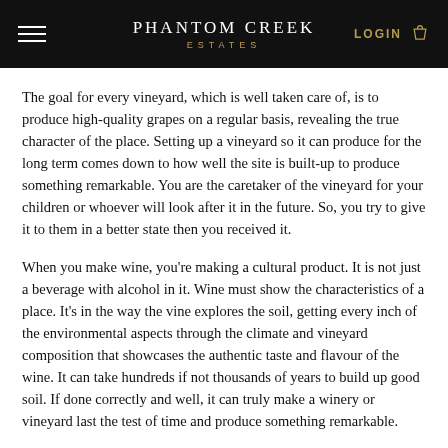PHANTOM CREEK ESTATES
The goal for every vineyard, which is well taken care of, is to produce high-quality grapes on a regular basis, revealing the true character of the place. Setting up a vineyard so it can produce for the long term comes down to how well the site is built-up to produce something remarkable. You are the caretaker of the vineyard for your children or whoever will look after it in the future. So, you try to give it to them in a better state then you received it.
When you make wine, you're making a cultural product. It is not just a beverage with alcohol in it. Wine must show the characteristics of a place. It's in the way the vine explores the soil, getting every inch of the environmental aspects through the climate and vineyard composition that showcases the authentic taste and flavour of the wine. It can take hundreds if not thousands of years to build up good soil. If done correctly and well, it can truly make a winery or vineyard last the test of time and produce something remarkable.